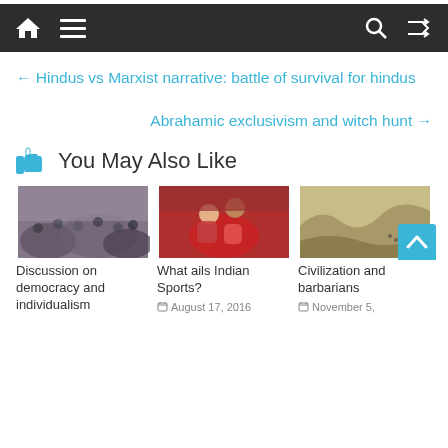Navigation bar with home, menu, search, and shuffle icons
← Hindus vs Marxist narrative: battle of survival for hindus
Abrahamic exclusivism and witch hunt →
You May Also Like
[Figure (photo): Crowd of people, likely a political gathering or protest]
Discussion on democracy and individualism
[Figure (photo): Two wrestlers competing in a match, one in red lifting the other]
What ails Indian Sports?
August 17, 2016
[Figure (photo): Abstract image possibly showing a crowd or waves from above]
Civilization and barbarians
November 5,